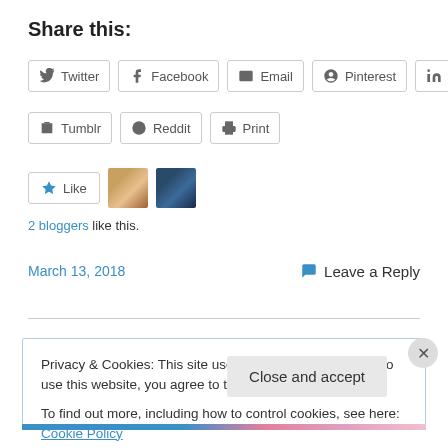Share this:
Twitter | Facebook | Email | Pinterest | LinkedIn
Tumblr | Reddit | Print
[Figure (other): Like button with star icon and two blogger avatars]
2 bloggers like this.
March 13, 2018   Leave a Reply
Privacy & Cookies: This site uses cookies. By continuing to use this website, you agree to their use.
To find out more, including how to control cookies, see here: Cookie Policy